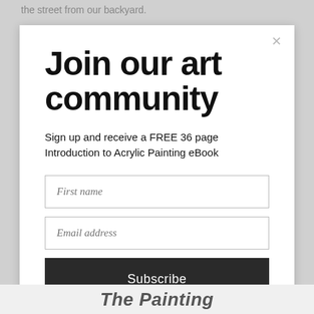the street from our backyard.
Join our art community
Sign up and receive a FREE 36 page Introduction to Acrylic Painting eBook
The Painting